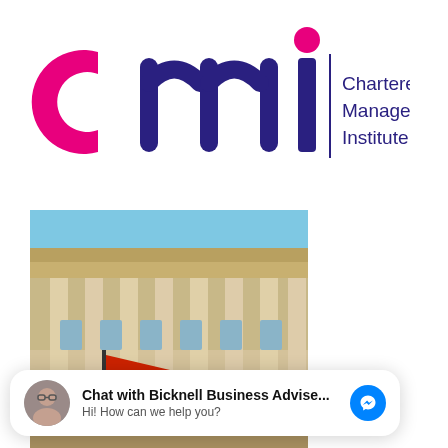[Figure (logo): CMI Chartered Management Institute logo with pink 'c', dark navy 'MI' letters and a pink dot above the 'i', with 'Chartered Management Institute' text in navy to the right]
[Figure (photo): Photograph of a classical stone building with columns, a red flag with 'IoD' initials visible, taken from a low angle against a blue sky]
Chat with Bicknell Business Advise...
Hi! How can we help you?